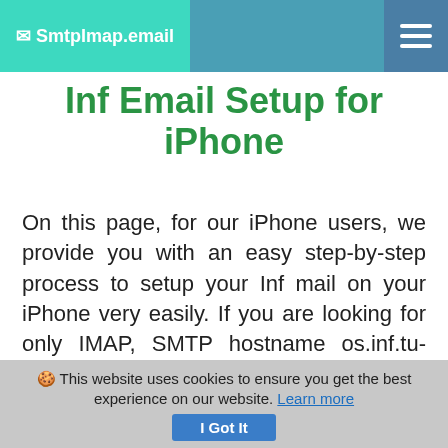✉ SmtpImap.email
Inf Email Setup for iPhone
On this page, for our iPhone users, we provide you with an easy step-by-step process to setup your Inf mail on your iPhone very easily. If you are looking for only IMAP, SMTP hostname os.inf.tu-dresden.de & os.inf.tu-dresden.de, port
🍪 This website uses cookies to ensure you get the best experience on our website. Learn more
I Got It